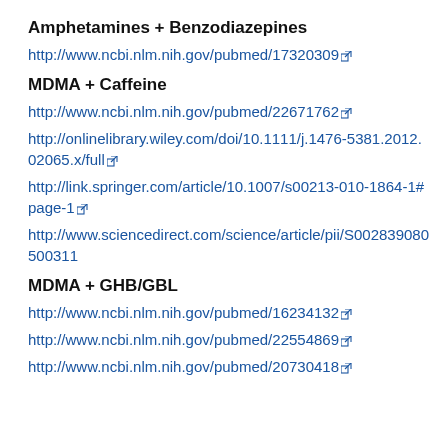Amphetamines + Benzodiazepines
http://www.ncbi.nlm.nih.gov/pubmed/17320309
MDMA + Caffeine
http://www.ncbi.nlm.nih.gov/pubmed/22671762
http://onlinelibrary.wiley.com/doi/10.1111/j.1476-5381.2012.02065.x/full
http://link.springer.com/article/10.1007/s00213-010-1864-1#page-1
http://www.sciencedirect.com/science/article/pii/S002839080500311
MDMA + GHB/GBL
http://www.ncbi.nlm.nih.gov/pubmed/16234132
http://www.ncbi.nlm.nih.gov/pubmed/22554869
http://www.ncbi.nlm.nih.gov/pubmed/20730418